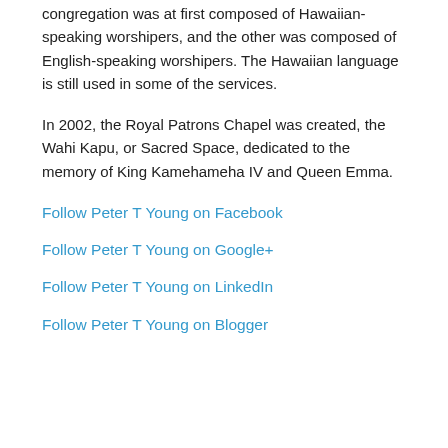congregation was at first composed of Hawaiian-speaking worshipers, and the other was composed of English-speaking worshipers. The Hawaiian language is still used in some of the services.
In 2002, the Royal Patrons Chapel was created, the Wahi Kapu, or Sacred Space, dedicated to the memory of King Kamehameha IV and Queen Emma.
Follow Peter T Young on Facebook
Follow Peter T Young on Google+
Follow Peter T Young on LinkedIn
Follow Peter T Young on Blogger